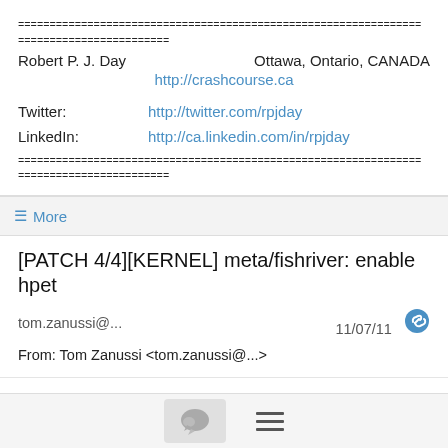================================================================
========================
Robert P. J. Day                                Ottawa, Ontario, CANADA
                     http://crashcourse.ca

Twitter:                              http://twitter.com/rpjday
LinkedIn:                          http://ca.linkedin.com/in/rpjday
================================================================
========================
≡ More
[PATCH 4/4][KERNEL] meta/fishriver: enable hpet
tom.zanussi@...   11/07/11
From: Tom Zanussi <tom.zanussi@...>